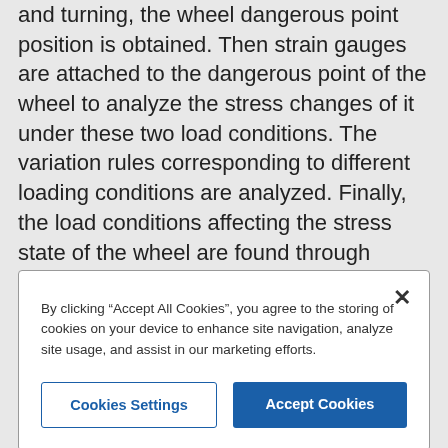and turning, the wheel dangerous point position is obtained. Then strain gauges are attached to the dangerous point of the wheel to analyze the stress changes of it under these two load conditions. The variation rules corresponding to different loading conditions are analyzed. Finally, the load conditions affecting the stress state of the wheel are found through comparative analysis. Through the above research, the measurement method and influencing factors of the stress state of the wheel during use are obtained. It provides guidance for wheel
By clicking "Accept All Cookies", you agree to the storing of cookies on your device to enhance site navigation, analyze site usage, and assist in our marketing efforts.
Cookies Settings
Accept Cookies
Download Citation
Author(s): Liu Cheng, Ren Zu, Cheng Chao, Liu Wei